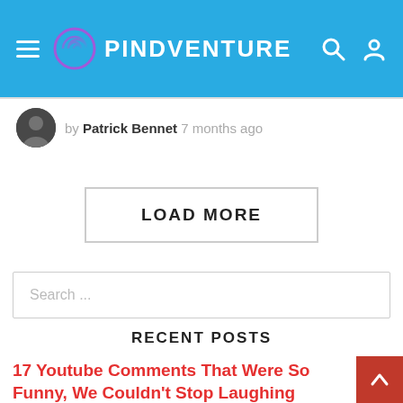PINDVENTURE
by Patrick Bennet 7 months ago
LOAD MORE
Search ...
RECENT POSTS
17 Youtube Comments That Were So Funny, We Couldn't Stop Laughing